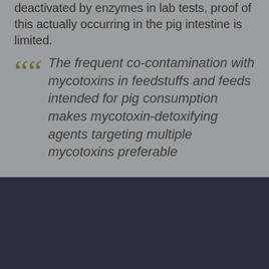deactivated by enzymes in lab tests, proof of this actually occurring in the pig intestine is limited.
The frequent co-contamination with mycotoxins in feedstuffs and feeds intended for pig consumption makes mycotoxin-detoxifying agents targeting multiple mycotoxins preferable
We use cookies to optimise site functionality and give you the best possible experience.